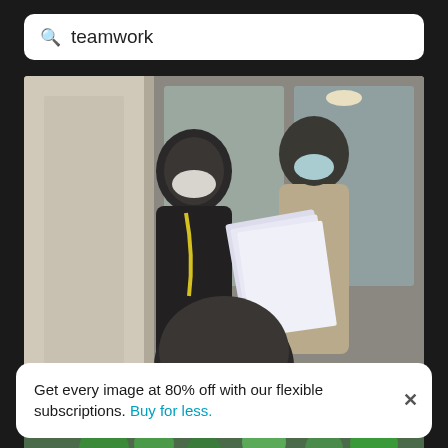teamwork
[Figure (photo): Two people wearing face masks standing and reviewing documents together outdoors near a building entrance. A third person's head is partially visible in the foreground.]
Friends standing with text
[Figure (photo): Partial view of a second photo showing greenery and what appears to be an outdoor seating area.]
Get every image at 80% off with our flexible subscriptions. Buy for less.